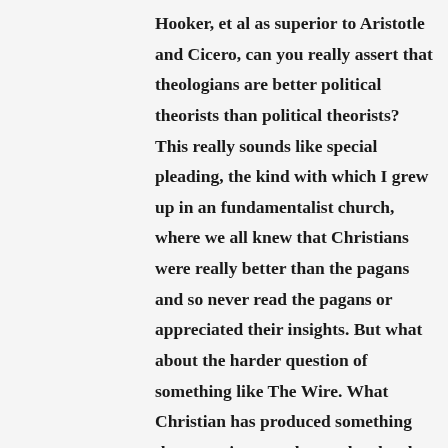Hooker, et al as superior to Aristotle and Cicero, can you really assert that theologians are better political theorists than political theorists? This really sounds like special pleading, the kind with which I grew up in an fundamentalist church, where we all knew that Christians were really better than the pagans and so never read the pagans or appreciated their insights. But what about the harder question of something like The Wire. What Christian has produced something that amazing, or what author has let Christianity be the guide for such a production? Shakespeare? But I